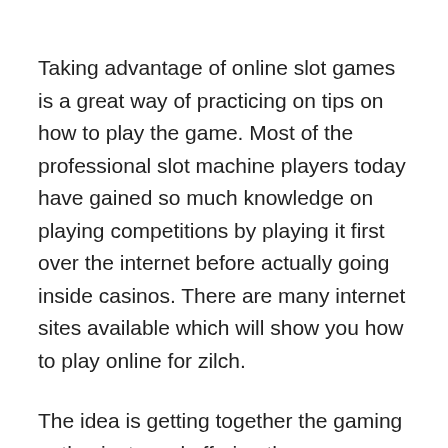Taking advantage of online slot games is a great way of practicing on tips on how to play the game. Most of the professional slot machine players today have gained so much knowledge on playing competitions by playing it first over the internet before actually going inside casinos. There are many internet sites available which will show you how to play online for zilch.
The idea is getting together the gaming enthusiasts and offering them a platform for social interaction on the topic of interest, here virtual slot online. As the range is of the like-minded people from different corners belonging to the world, gaming perspectives that emerge